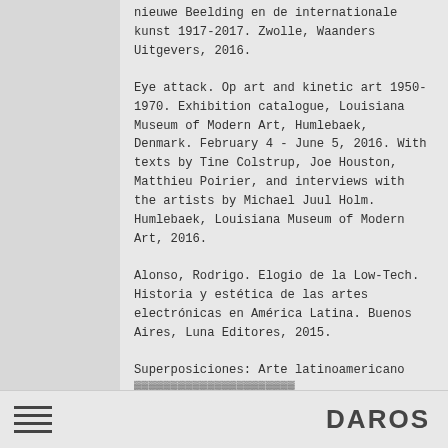nieuwe Beelding en de internationale kunst 1917-2017. Zwolle, Waanders Uitgevers, 2016.
Eye attack. Op art and kinetic art 1950-1970. Exhibition catalogue, Louisiana Museum of Modern Art, Humlebaek, Denmark. February 4 - June 5, 2016. With texts by Tine Colstrup, Joe Houston, Matthieu Poirier, and interviews with the artists by Michael Juul Holm. Humlebaek, Louisiana Museum of Modern Art, 2016.
Alonso, Rodrigo. Elogio de la Low-Tech. Historia y estética de las artes electrónicas en América Latina. Buenos Aires, Luna Editores, 2015.
Superposiciones: Arte latinoamericano...
DAROS